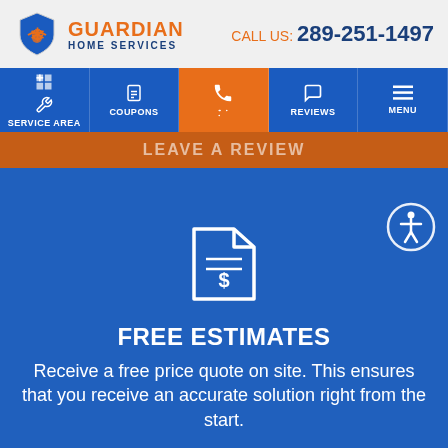[Figure (logo): Guardian Home Services logo with shield icon, orange and blue branding]
CALL US: 289-251-1497
[Figure (screenshot): Navigation bar with Service Area, Coupons, phone call button (active/orange), Reviews, and Menu items on blue background]
LEAVE A REVIEW
[Figure (illustration): Dollar sign document icon in white on blue background]
FREE ESTIMATES
Receive a free price quote on site. This ensures that you receive an accurate solution right from the start.